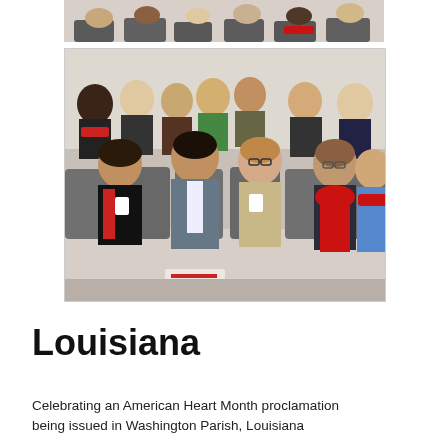[Figure (photo): Partial top view of people seated in chairs, cropped image showing tops of heads and chairs]
[Figure (photo): A large group of people seated in rows of chairs in a meeting room, many wearing red scarves or red accessories, some with name badges. Photo taken from a slightly elevated angle showing multiple rows of attendees at what appears to be an American Heart Month event.]
Louisiana
Celebrating an American Heart Month proclamation being issued in Washington Parish, Louisiana